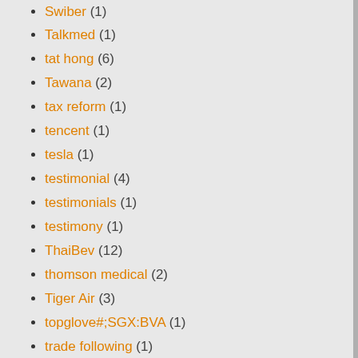Swiber (1)
Talkmed (1)
tat hong (6)
Tawana (2)
tax reform (1)
tencent (1)
tesla (1)
testimonial (4)
testimonials (1)
testimony (1)
ThaiBev (12)
thomson medical (2)
Tiger Air (3)
topglove#;SGX:BVA (1)
trade following (1)
trade war (2)
trading course (3)
trump (1)
United Engineers (3)